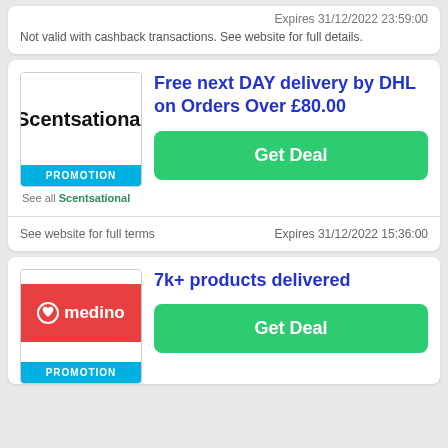Expires 31/12/2022 23:59:00
Not valid with cashback transactions. See website for full details.
Free next DAY delivery by DHL on Orders Over £80.00
[Figure (logo): Scentsational logo with PROMOTION bar]
Get Deal
See website for full terms
Expires 31/12/2022 15:36:00
7k+ products delivered
[Figure (logo): Medino logo with PROMOTION bar]
Get Deal